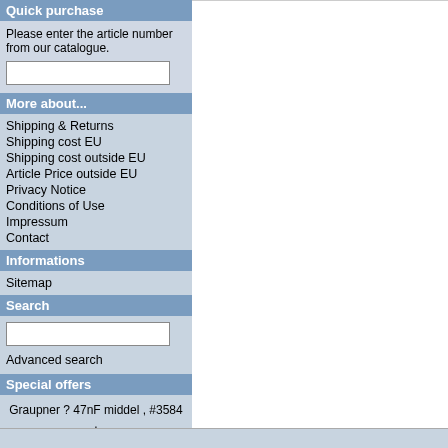Quick purchase
Please enter the article number from our catalogue.
More about...
Shipping & Returns
Shipping cost EU
Shipping cost outside EU
Article Price outside EU
Privacy Notice
Conditions of Use
Impressum
Contact
Informations
Sitemap
Search
Special offers
Graupner ? 47nF middel , #3584 , 10 pcs
instead 3,30 EUR only 1,80 EUR